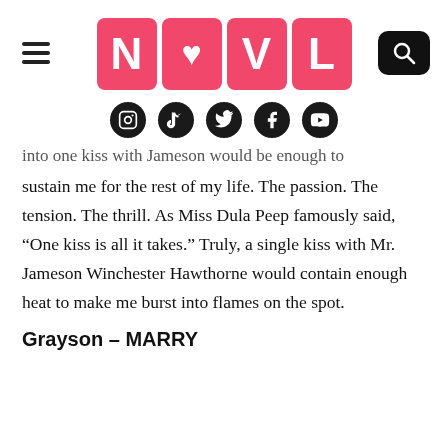[Figure (logo): NOVL logo - four pink rounded square tiles spelling N, O (with heart), V, L in white bold letters, with hamburger menu icon on left and search button on right]
[Figure (infographic): Five social media icons in black circles: Instagram, TikTok, Twitter, Facebook, YouTube]
into one kiss with Jameson would be enough to sustain me for the rest of my life. The passion. The tension. The thrill. As Miss Dula Peep famously said, “One kiss is all it takes.” Truly, a single kiss with Mr. Jameson Winchester Hawthorne would contain enough heat to make me burst into flames on the spot.
Grayson – MARRY